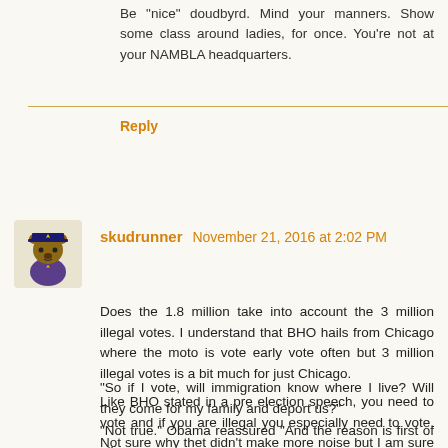Be nice doudbyrd. Mind your manners. Show some class around ladies, for once. You're not at your NAMBLA headquarters.
Reply
skudrunner November 21, 2016 at 2:02 PM
Does the 1.8 million take into account the 3 million illegal votes. I understand that BHO hails from Chicago where the moto is vote early vote often but 3 million illegal votes is a bit much for just Chicago.
Like BHO stated in a pre election speech, you need to vote and if you are illegal you especially need to vote. Not sure why thet didn't make more noise but I am sure NBC stamped it out. BHO does have a different take on a legal voter
“So if I vote, will immigration know where I live? Will they come for my family and deport us?”
“Not true.” Obama reassured “And the reason is first of all